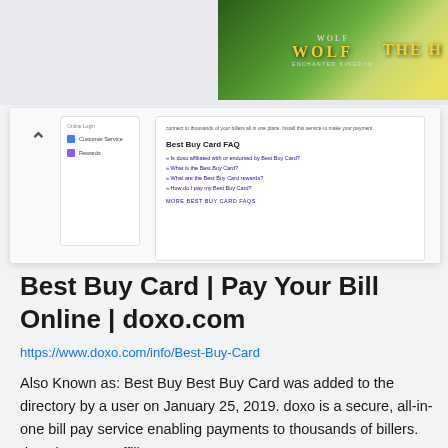[Figure (screenshot): Advertisement banner featuring wolves in a meadow with text 'WOLF' and 'THE H' visible, with golden/green nature background]
[Figure (screenshot): Screenshot of Best Buy Card FAQ page showing sidebar with Customer Service and Rewards links, and a FAQ panel with questions about Best Buy Card]
Best Buy Card | Pay Your Bill Online | doxo.com
https://www.doxo.com/info/Best-Buy-Card
Also Known as: Best Buy Best Buy Card was added to the directory by a user on January 25, 2019. doxo is a secure, all-in-one bill pay service enabling payments to thousands of billers. doxo is not an affiliate …